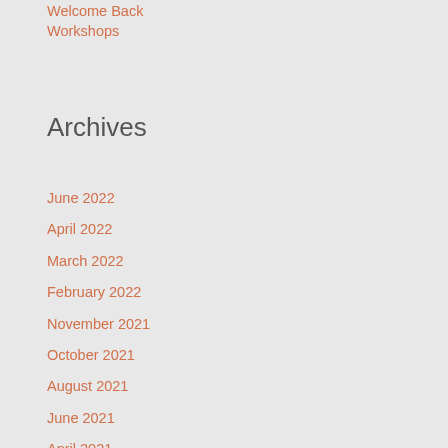Welcome Back
Workshops
Archives
June 2022
April 2022
March 2022
February 2022
November 2021
October 2021
August 2021
June 2021
April 2021
March 2021
January 2021
December 2020
October 2020
September 2020
March 2020
February 2020